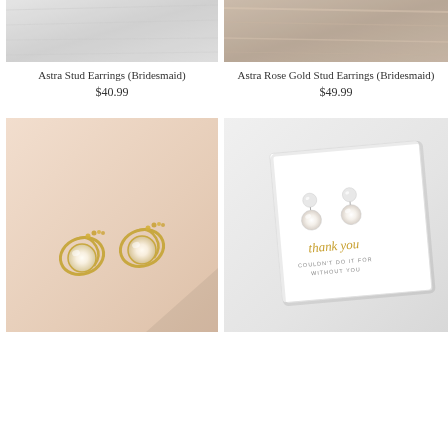[Figure (photo): Top portion of product image for Astra Stud Earrings, showing grey/white texture background]
Astra Stud Earrings (Bridesmaid)
$40.99
[Figure (photo): Top portion of product image for Astra Rose Gold Stud Earrings, showing beige/taupe satin fabric background]
Astra Rose Gold Stud Earrings (Bridesmaid)
$49.99
[Figure (photo): Gold pearl and crystal stud earrings on peach/blush background]
[Figure (photo): Pearl drop earrings with crystal top on gift card that says 'thank you, couldn't do it without you', in white box packaging]